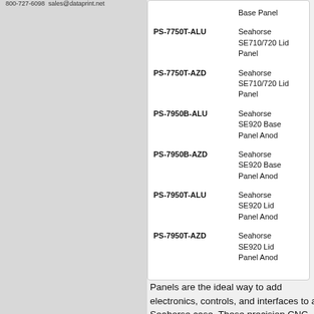800-727-6098  sales@dataprint.net
| Part Number | Description |
| --- | --- |
|  | Base Panel |
| PS-7750T-ALU | Seahorse SE710/720 Lid Panel |
| PS-7750T-AZD | Seahorse SE710/720 Lid Panel |
| PS-7950B-ALU | Seahorse SE920 Base Panel Anod |
| PS-7950B-AZD | Seahorse SE920 Base Panel Anod |
| PS-7950T-ALU | Seahorse SE920 Lid Panel Anod |
| PS-7950T-AZD | Seahorse SE920 Lid Panel Anod |
Panels are the ideal way to add electronics, controls, and interfaces to a Seahorse case. These precision CNC-cut panels are designed to maximize usable space, and perfectly fit Seahorse. Made from